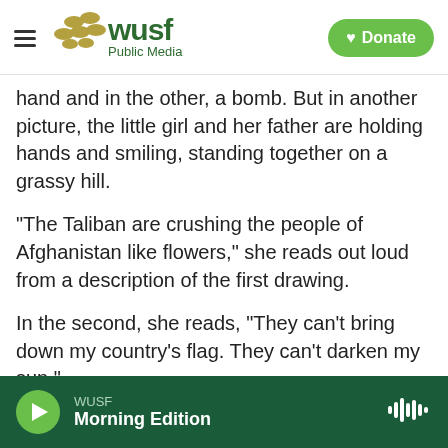WUSF Public Media | Donate
hand and in the other, a bomb. But in another picture, the little girl and her father are holding hands and smiling, standing together on a grassy hill.
"The Taliban are crushing the people of Afghanistan like flowers," she reads out loud from a description of the first drawing.
In the second, she reads, "They can't bring down my country's flag. They can't darken my sun."
Elisa is hopeful. And as her father watches, he says that her hope is why they are here.
WUSF Morning Edition